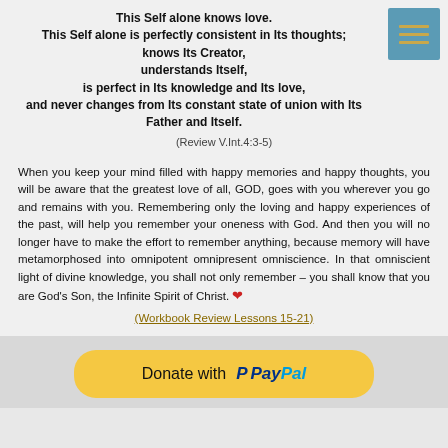This Self alone knows love.
This Self alone is perfectly consistent in Its thoughts;
knows Its Creator,
understands Itself,
is perfect in Its knowledge and Its love,
and never changes from Its constant state of union with Its Father and Itself.
(Review V.Int.4:3-5)
When you keep your mind filled with happy memories and happy thoughts, you will be aware that the greatest love of all, GOD, goes with you wherever you go and remains with you. Remembering only the loving and happy experiences of the past, will help you remember your oneness with God. And then you will no longer have to make the effort to remember anything, because memory will have metamorphosed into omnipotent omnipresent omniscience. In that omniscient light of divine knowledge, you shall not only remember – you shall know that you are God's Son, the Infinite Spirit of Christ. ❤
(Workbook Review Lessons 15-21)
[Figure (other): PayPal donate button with yellow rounded rectangle background, showing 'Donate with PayPal' text and PayPal logo]